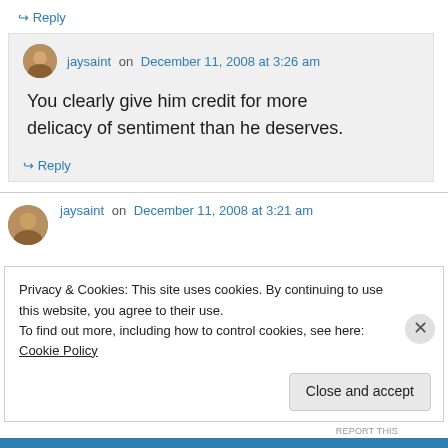↪ Reply
jaysaint on December 11, 2008 at 3:26 am
You clearly give him credit for more delicacy of sentiment than he deserves.
↪ Reply
jaysaint on December 11, 2008 at 3:21 am
Privacy & Cookies: This site uses cookies. By continuing to use this website, you agree to their use.
To find out more, including how to control cookies, see here: Cookie Policy